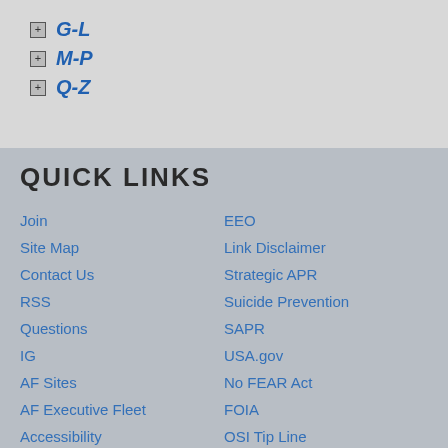G-L
M-P
Q-Z
QUICK LINKS
Join
EEO
Site Map
Link Disclaimer
Contact Us
Strategic APR
RSS
Suicide Prevention
Questions
SAPR
IG
USA.gov
AF Sites
No FEAR Act
AF Executive Fleet
FOIA
Accessibility
OSI Tip Line